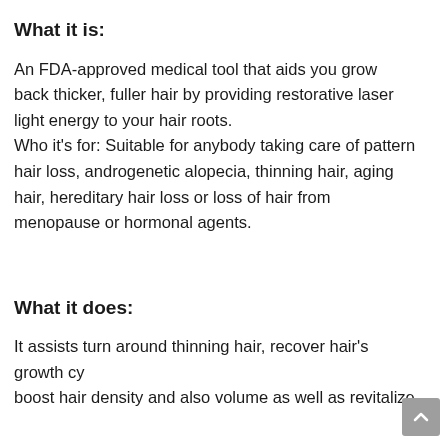What it is:
An FDA-approved medical tool that aids you grow back thicker, fuller hair by providing restorative laser light energy to your hair roots.
Who it's for: Suitable for anybody taking care of pattern hair loss, androgenetic alopecia, thinning hair, aging hair, hereditary hair loss or loss of hair from menopause or hormonal agents.
What it does:
It assists turn around thinning hair, recover hair's growth cycle, boost hair density and also volume as well as revitalize…